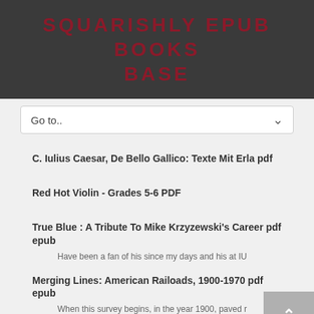SQUARISHLY EPUB BOOKS BASE
C. Iulius Caesar, De Bello Gallico: Texte Mit Erla pdf
Red Hot Violin - Grades 5-6 PDF
True Blue : A Tribute To Mike Krzyzewski's Career pdf epub
Have been a fan of his since my days and his at IU
Merging Lines: American Railoads, 1900-1970 pdf epub
When this survey begins, in the year 1900, paved r
Fifteen Bones pdf epub